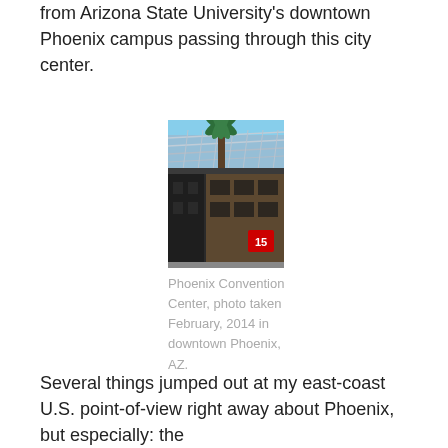from Arizona State University's downtown Phoenix campus passing through this city center.
[Figure (photo): Phoenix Convention Center building exterior with palm tree and steel lattice canopy structure, blue sky background, photo taken February 2014 in downtown Phoenix, AZ.]
Phoenix Convention Center, photo taken February, 2014 in downtown Phoenix, AZ.
Several things jumped out at my east-coast U.S. point-of-view right away about Phoenix, but especially: the